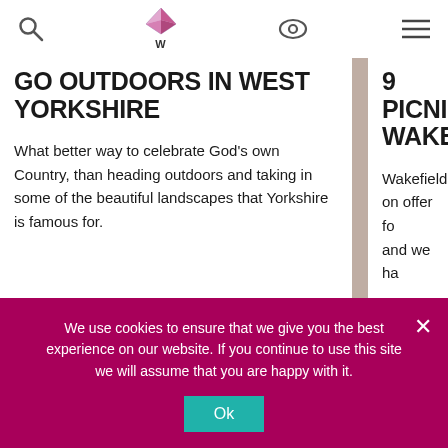Navigation header with search, logo, eye, and menu icons
GO OUTDOORS IN WEST YORKSHIRE
What better way to celebrate God's own Country, than heading outdoors and taking in some of the beautiful landscapes that Yorkshire is famous for.
READ MORE
9 PICNI... WAKEFI...
Wakefield... on offer fo... and we ha... our favou...
READ...
We use cookies to ensure that we give you the best experience on our website. If you continue to use this site we will assume that you are happy with it.
Ok